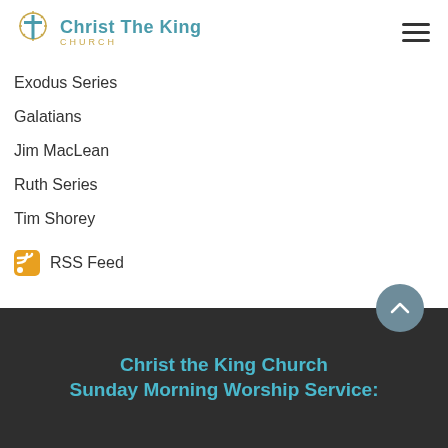[Figure (logo): Christ The King Church logo with cross icon and text]
Exodus Series
Galatians
Jim MacLean
Ruth Series
Tim Shorey
RSS Feed
Christ the King Church Sunday Morning Worship Service: